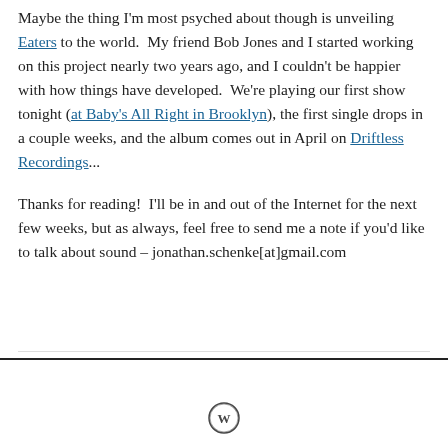Maybe the thing I'm most psyched about though is unveiling Eaters to the world.  My friend Bob Jones and I started working on this project nearly two years ago, and I couldn't be happier with how things have developed.  We're playing our first show tonight (at Baby's All Right in Brooklyn), the first single drops in a couple weeks, and the album comes out in April on Driftless Recordings...
Thanks for reading!  I'll be in and out of the Internet for the next few weeks, but as always, feel free to send me a note if you'd like to talk about sound – jonathan.schenke[at]gmail.com
[Figure (logo): WordPress logo icon in a circle]